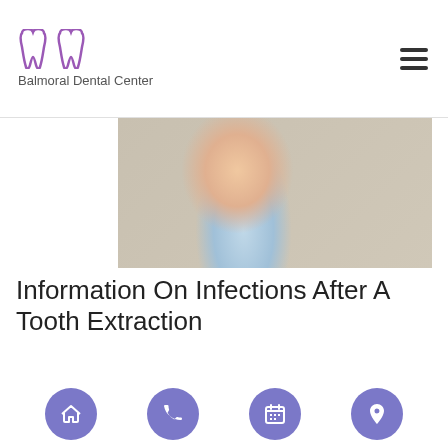Balmoral Dental Center
[Figure (photo): Young woman smiling in a dental chair in a dental office, wearing a light blue dental bib]
Information On Infections After A Tooth Extraction
Are you wondering what the chances of infection are after a tooth extraction? If you are getting ready to have a tooth extracted, rest assured that the chances of infection are low. That is if you carefully follow all of the post-operative instructions your dentist gives